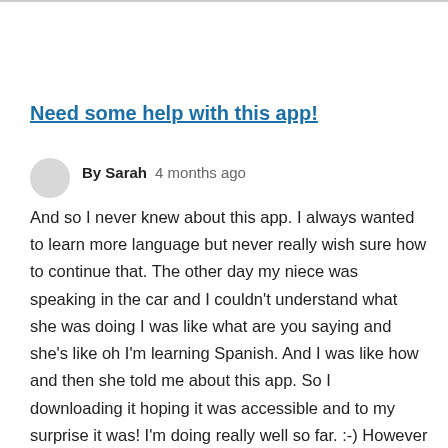Need some help with this app!
By Sarah   4 months ago
And so I never knew about this app. I always wanted to learn more language but never really wish sure how to continue that. The other day my niece was speaking in the car and I couldn't understand what she was doing I was like what are you saying and she's like oh I'm learning Spanish. And I was like how and then she told me about this app. So I downloading it hoping it was accessible and to my surprise it was! I'm doing really well so far. :-) However I do not understand sometimes voice over will read all of the items in English and it will read the French